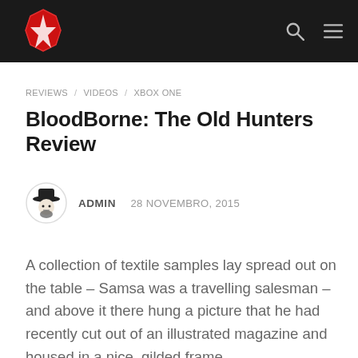SEVEN COMICS
REVIEWS / VIDEOS / XBOX ONE
BloodBorne: The Old Hunters Review
ADMIN   28 NOVEMBRO, 2015
A collection of textile samples lay spread out on the table – Samsa was a travelling salesman – and above it there hung a picture that he had recently cut out of an illustrated magazine and housed in a nice, gilded frame.